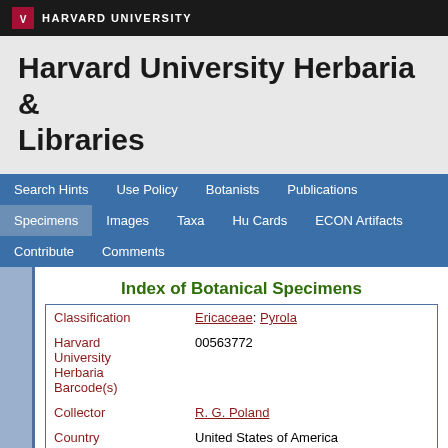HARVARD UNIVERSITY
Harvard University Herbaria & Libraries
Search Hints | Use Policy | Botanists | Publications | Specimens | Images | Taxa | Hu Cards | ECON Artifacts | Contribute | Comments
Index of Botanical Specimens
| Field | Value |
| --- | --- |
| Classification | Ericaceae: Pyrola |
| Harvard University Herbaria Barcode(s) | 00563772 |
| Collector | R. G. Poland |
| Country | United States of America |
| State | Vermont |
| Geography | North America: North America (CA, US, MX) (Region): United States of America: Vermont: Windsor County: Plymouth |